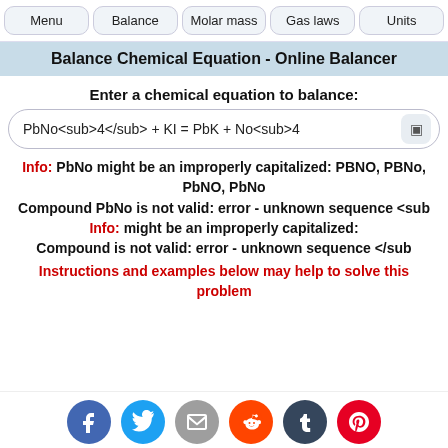Menu | Balance | Molar mass | Gas laws | Units
Balance Chemical Equation - Online Balancer
Enter a chemical equation to balance:
PbNo<sub>4</sub> + KI = PbK + No<sub>4
Info: PbNo might be an improperly capitalized: PBNO, PBNo, PbNO, PbNo
Compound PbNo is not valid: error - unknown sequence <sub
Info: might be an improperly capitalized:
Compound is not valid: error - unknown sequence </sub
Instructions and examples below may help to solve this problem